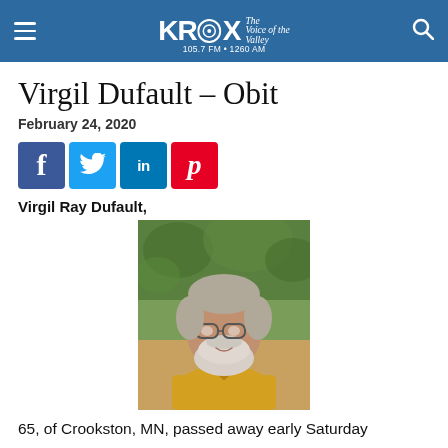KROX 105.7 FM • 1260 AM – The Voice of the Valley
Virgil Dufault – Obit
February 24, 2020
[Figure (infographic): Social media share buttons: Facebook, Twitter, LinkedIn, Pinterest]
Virgil Ray Dufault,
[Figure (photo): Photo of Virgil Ray Dufault, an older man with glasses and a white beard wearing a yellow shirt, outdoors with trees in background]
65, of Crookston, MN, passed away early Saturday